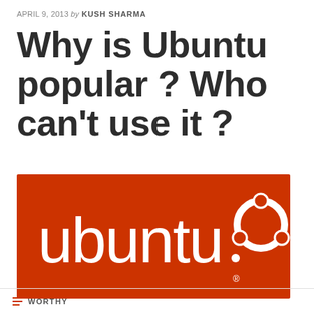APRIL 9, 2013 by KUSH SHARMA
Why is Ubuntu popular ? Who can't use it ?
[Figure (logo): Ubuntu logo: orange-red background rectangle with white 'ubuntu.' wordmark and the Ubuntu circular logo symbol in white at top right of the text]
WORTHY